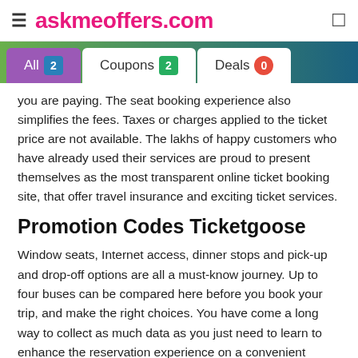askmeoffers.com
[Figure (other): Tab navigation bar with three tabs: All 2 (active, purple), Coupons 2 (white background), Deals 0 (white background)]
you are paying. The seat booking experience also simplifies the fees. Taxes or charges applied to the ticket price are not available. The lakhs of happy customers who have already used their services are proud to present themselves as the most transparent online ticket booking site, that offer travel insurance and exciting ticket services.
Promotion Codes Ticketgoose
Window seats, Internet access, dinner stops and pick-up and drop-off options are all a must-know journey. Up to four buses can be compared here before you book your trip, and make the right choices. You have come a long way to collect as much data as you just need to learn to enhance the reservation experience on a convenient online platform. Explore dozens of ticket vouchers carefully chosen and listed for your convenience when buying tickets from GrabOn. You are sure to select the best way to save your money and have an